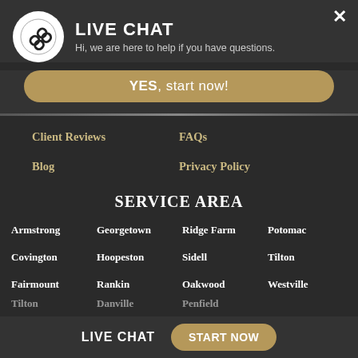[Figure (logo): Circular white logo with a stylized chain/link icon inside]
LIVE CHAT
Hi, we are here to help if you have questions.
YES, start now!
Client Reviews
FAQs
Blog
Privacy Policy
SERVICE AREA
Armstrong
Georgetown
Ridge Farm
Potomac
Covington
Hoopeston
Sidell
Tilton
Fairmount
Rankin
Oakwood
Westville
LIVE CHAT   START NOW